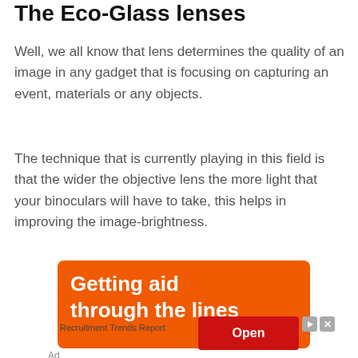The Eco-Glass lenses
Well, we all know that lens determines the quality of an image in any gadget that is focusing on capturing an event, materials or any objects.
The technique that is currently playing in this field is that the wider the objective lens the more light that your binoculars will have to take, this helps in improving the image-brightness.
[Figure (other): Orange advertisement banner showing 'Getting aid through the lines' with a red Open button and Recruitment Trends Report label at the bottom]